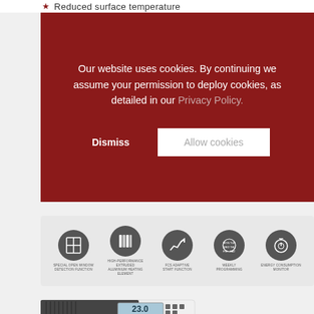Reduced surface temperature
Our website uses cookies. By continuing we assume your permission to deploy cookies, as detailed in our Privacy Policy.
Dismiss
Allow cookies
[Figure (photo): Product feature icons row showing: Special Open Window Detection Function, High-Performance Extruded Aluminium Heating Element, FCS Adaptive Start Function, Weekly Programming, Energy Consumption Monitor]
[Figure (photo): White electric panel heater with digital display showing 23.0 degrees, angled product shot]